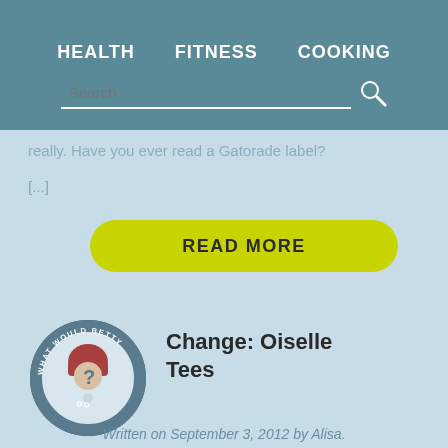HEALTH   FITNESS   COOKING
really. Have you ever read a Gatorade label?
[...]
READ MORE
[Figure (logo): Circular badge logo reading 'WHAT WOULD BETTY DO' with a question mark silhouette in the center]
Change: Oiselle Tees
Written on September 3, 2012 by Alisa.